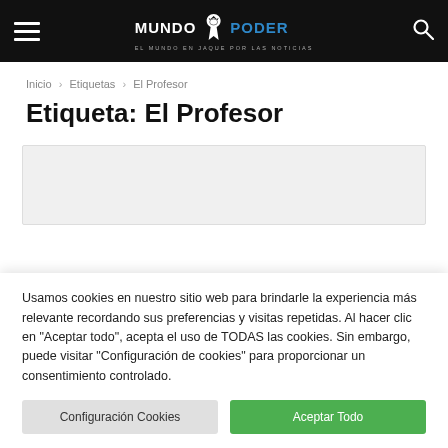MUNDO PODER — EL MUNDO EN JAQUE POR LAS NOTICIAS
Inicio › Etiquetas › El Profesor
Etiqueta: El Profesor
[Figure (other): Advertisement banner placeholder (light gray rectangle)]
Usamos cookies en nuestro sitio web para brindarle la experiencia más relevante recordando sus preferencias y visitas repetidas. Al hacer clic en "Aceptar todo", acepta el uso de TODAS las cookies. Sin embargo, puede visitar "Configuración de cookies" para proporcionar un consentimiento controlado.
Configuración Cookies | Aceptar Todo